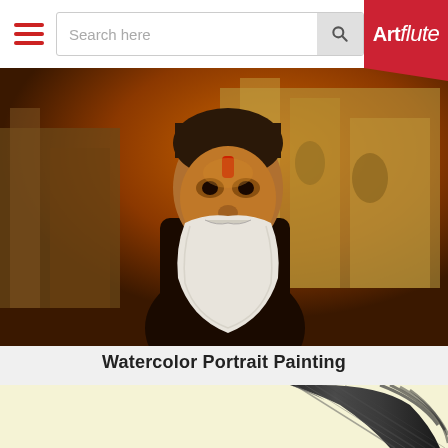Search here | Artflute
[Figure (photo): Painting of an elderly Indian sadhu/holy man with a long white beard, red tilak on forehead, standing in front of an architectural backdrop of ancient buildings in warm orange/brown tones]
Watercolor Portrait Painting
[Figure (photo): Close-up of a dark grey/black sculptural or textile object on a pale yellow background, showing detailed texture with ribbed/wrapped pattern]